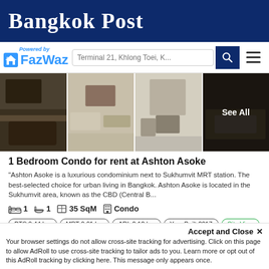Bangkok Post
[Figure (logo): FazWaz logo with 'Powered by' text above, blue house icon and FazWaz name in blue]
Terminal 21, Khlong Toei, K...
[Figure (photo): Grid of 4 condo interior photos, last one with 'See All' overlay]
1 Bedroom Condo for rent at Ashton Asoke
"Ashton Asoke is a luxurious condominium next to Sukhumvit MRT station. The best-selected choice for urban living in Bangkok. Ashton Asoke is located in the Sukhumvit area, known as the CBD (Central B...
1  1  35 SqM  Condo
BTS 0.44 km  MRT 0.61 km  ARL 2.12 km  Year Built 2017  City View  Balcony  Washing Machine  Microwave
Min. Rental Duration: At least one year
Accept and Close ×
Your browser settings do not allow cross-site tracking for advertising. Click on this page to allow AdRoll to use cross-site tracking to tailor ads to you. Learn more or opt out of this AdRoll tracking by clicking here. This message only appears once.